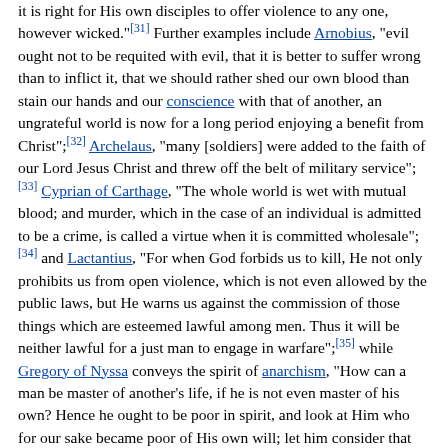it is right for His own disciples to offer violence to any one, however wicked."[31] Further examples include Arnobius, "evil ought not to be requited with evil, that it is better to suffer wrong than to inflict it, that we should rather shed our own blood than stain our hands and our conscience with that of another, an ungrateful world is now for a long period enjoying a benefit from Christ";[32] Archelaus, "many [soldiers] were added to the faith of our Lord Jesus Christ and threw off the belt of military service"; [33] Cyprian of Carthage, "The whole world is wet with mutual blood; and murder, which in the case of an individual is admitted to be a crime, is called a virtue when it is committed wholesale"; [34] and Lactantius, "For when God forbids us to kill, He not only prohibits us from open violence, which is not even allowed by the public laws, but He warns us against the commission of those things which are esteemed lawful among men. Thus it will be neither lawful for a just man to engage in warfare";[35] while Gregory of Nyssa conveys the spirit of anarchism, "How can a man be master of another's life, if he is not even master of his own? Hence he ought to be poor in spirit, and look at Him who for our sake became poor of His own will; let him consider that we are all equal by nature, and not exalt himself impertinently against his own race."[36]
Saint Maximilian of Tebessa was executed by the order of the